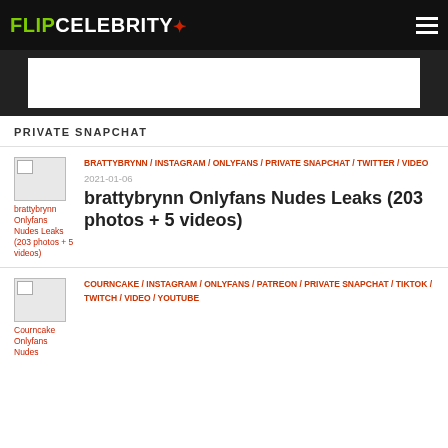FLIPCELEBRITY
[Figure (other): Advertisement banner (white rectangle on dark background)]
PRIVATE SNAPCHAT
brattybrynn Onlyfans Nudes Leaks (203 photos + 5 videos) — BRATTYBRYNN / INSTAGRAM / ONLYFANS / PRIVATE SNAPCHAT / TWITTER / VIDEO — 2021-01-06
Courncake Onlyfans Nudes — COURNCAKE / INSTAGRAM / ONLYFANS / PATREON / PRIVATE SNAPCHAT / TIKTOK / TWITCH / VIDEO / YOUTUBE — 2020-08-27